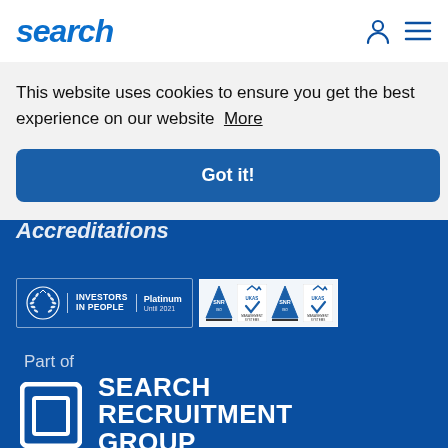search
This website uses cookies to ensure you get the best experience on our website  More
Got it!
Accreditations
[Figure (logo): Investors in People - Platinum Until 2021 logo and SNR/UKAS certification badges]
Part of
[Figure (logo): Search Recruitment Group logo - white square icon with inner square and SEARCH RECRUITMENT GROUP text]